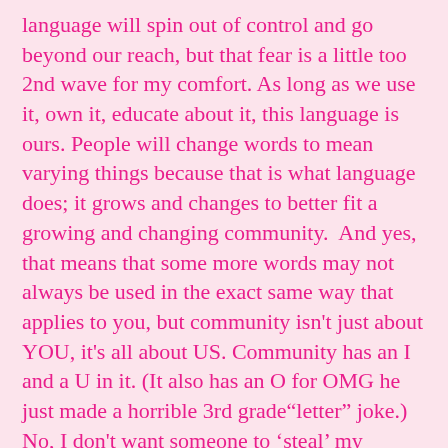language will spin out of control and go beyond our reach, but that fear is a little too 2nd wave for my comfort. As long as we use it, own it, educate about it, this language is ours. People will change words to mean varying things because that is what language does; it grows and changes to better fit a growing and changing community.  And yes, that means that some more words may not always be used in the exact same way that applies to you, but community isn't just about YOU, it's all about US. Community has an I and a U in it. (It also has an O for OMG he just made a horrible 3rd grade"letter" joke.) No, I don't want someone to 'steal' my communities' words or misuse our language; some might say I'm pretty damn picky about it. I think that when people appropriate